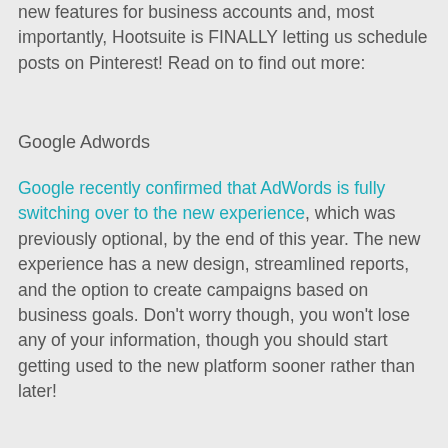new features for business accounts and, most importantly, Hootsuite is FINALLY letting us schedule posts on Pinterest! Read on to find out more:
Google Adwords
Google recently confirmed that AdWords is fully switching over to the new experience, which was previously optional, by the end of this year. The new experience has a new design, streamlined reports, and the option to create campaigns based on business goals. Don't worry though, you won't lose any of your information, though you should start getting used to the new platform sooner rather than later!